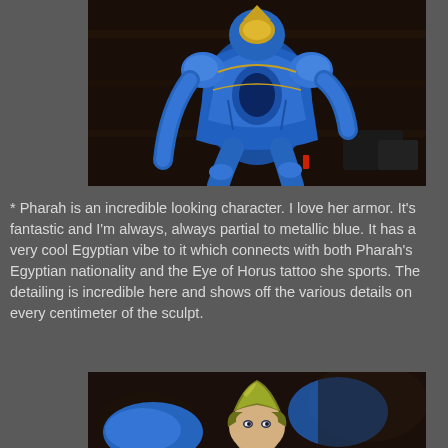[Figure (photo): A blue metallic armored action figure (Pharah from Overwatch) in a crouching pose with gold accents on the helmet, set against a dark wooden background]
* Pharah is an incredible looking character. I love her armor. It's fantastic and I'm always, always partial to metallic blue. It has a very cool Egyptian vibe to it which connects with both Pharah's Egyptian nationality and the Eye of Horus tattoo she sports. The detailing is incredible here and shows off the various details on every centimeter of the sculpt.
[Figure (photo): A close-up of the Pharah action figure's head showing the gold helmet/headpiece with blue armor and facial details, slightly blurred background]